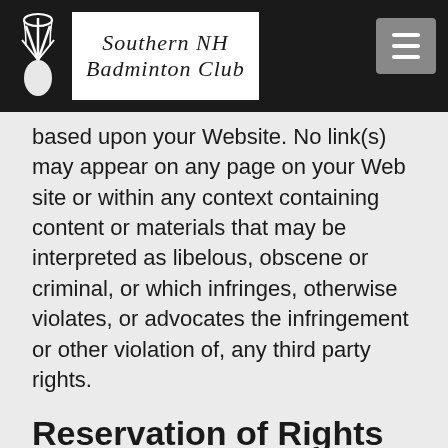Southern NH Badminton Club
based upon your Website. No link(s) may appear on any page on your Web site or within any context containing content or materials that may be interpreted as libelous, obscene or criminal, or which infringes, otherwise violates, or advocates the infringement or other violation of, any third party rights.
Reservation of Rights
We reserve the right at any time and in its sole discretion to request that you remove all links or any particular link to